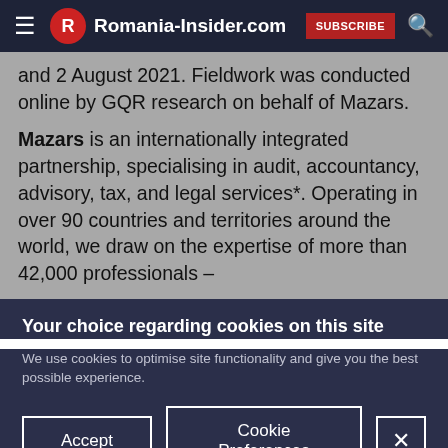Romania-Insider.com SUBSCRIBE
and 2 August 2021. Fieldwork was conducted online by GQR research on behalf of Mazars.
Mazars is an internationally integrated partnership, specialising in audit, accountancy, advisory, tax, and legal services*. Operating in over 90 countries and territories around the world, we draw on the expertise of more than 42,000 professionals –
Your choice regarding cookies on this site
We use cookies to optimise site functionality and give you the best possible experience.
Accept   Cookie Preferences   X